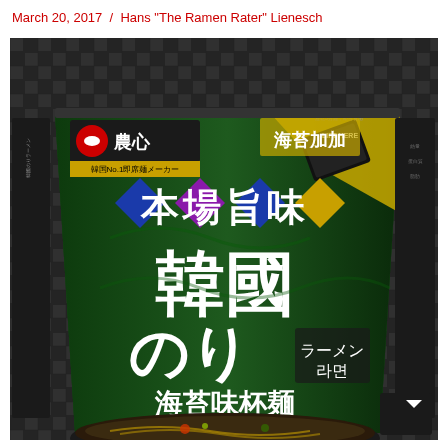March 20, 2017  /  Hans "The Ramen Rater" Lienesch
[Figure (photo): A cup of Nongshim Korean Seaweed (Nori) Ramen in a dark green cup with Japanese and Chinese characters, showing the product packaging with large Kanji characters reading Honba Umami Kankoku Nori Ramen, Nongshim logo, and seaweed illustration on a dark textured background.]